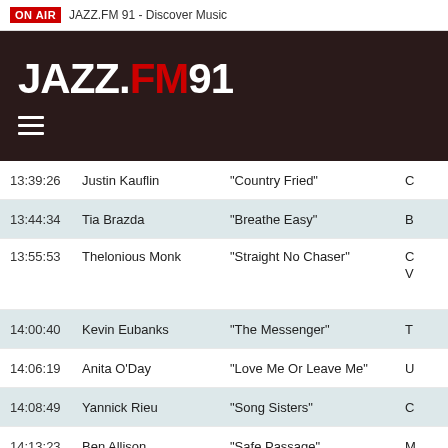ON AIR  JAZZ.FM 91 - Discover Music
[Figure (logo): JAZZ.FM91 logo on dark brown/black background with hamburger menu icon]
| Time | Artist | Song |  |
| --- | --- | --- | --- |
| 13:39:26 | Justin Kauflin | “Country Fried” | C |
| 13:44:34 | Tia Brazda | “Breathe Easy” | B |
| 13:55:53 | Thelonious Monk | “Straight No Chaser” | C / V |
| 14:00:40 | Kevin Eubanks | “The Messenger” | T |
| 14:06:19 | Anita O’Day | “Love Me Or Leave Me” | U |
| 14:08:49 | Yannick Rieu | “Song Sisters” | C |
| 14:13:23 | Ben Allison | “Safe Passage” | M |
| 14:21:31 | Oliver Nelson | “Stolen Moments” | T / T |